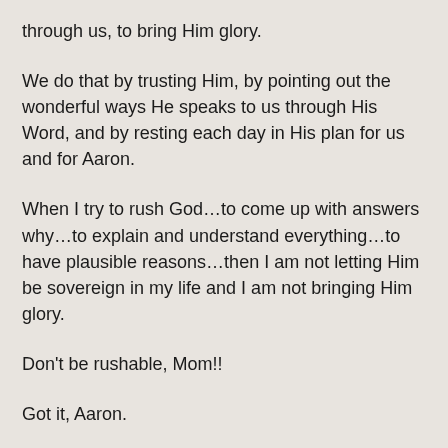through us, to bring Him glory.
We do that by trusting Him, by pointing out the wonderful ways He speaks to us through His Word, and by resting each day in His plan for us and for Aaron.
When I try to rush God…to come up with answers why…to explain and understand everything…to have plausible reasons…then I am not letting Him be sovereign in my life and I am not bringing Him glory.
Don't be rushable, Mom!!
Got it, Aaron.